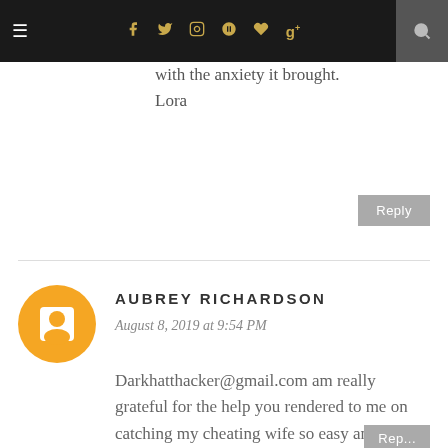Navigation bar with hamburger menu, social icons (f, twitter, instagram, pinterest, heart, g+), and search
with the anxiety it brought.
Lora
Reply
AUBREY RICHARDSON
August 8, 2019 at 9:54 PM
Darkhatthacker@gmail.com am really grateful for the help you rendered to me on catching my cheating wife so easy and quick without any notice thanks.
Reply